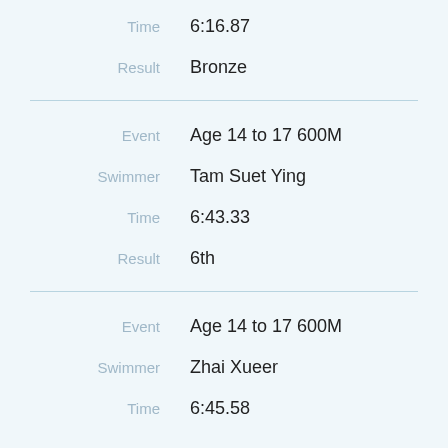Time: 6:16.87
Result: Bronze
Event: Age 14 to 17 600M
Swimmer: Tam Suet Ying
Time: 6:43.33
Result: 6th
Event: Age 14 to 17 600M
Swimmer: Zhai Xueer
Time: 6:45.58